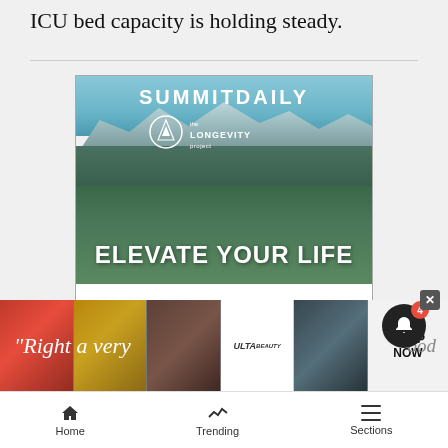ICU bed capacity is holding steady.
[Figure (infographic): Summit Daily Longevity Project advertisement with mountain background. Headline: ELEVATE YOUR LIFE. Below: HEAR FROM KEYNOTE SPEAKER SCOTT LINDGREN. An expedition kayaker who is battling a brain tumor. Thursday, Sept. 29 at 6 p.m. | 10 Mile Music Hall in Frisco]
[Figure (photo): Bottom banner advertisement strip showing Ulta beauty products with lip, brush, eye makeup photos and SHOP NOW text]
“Right a very
Home  Trending  Sections